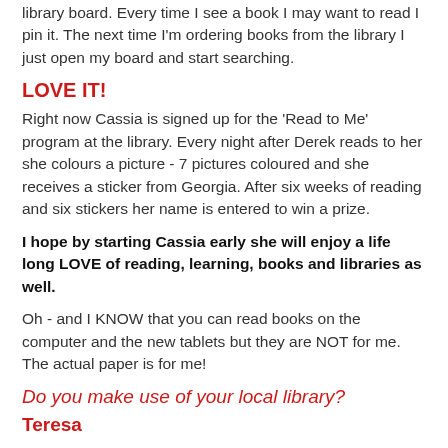library board. Every time I see a book I may want to read I pin it. The next time I'm ordering books from the library I just open my board and start searching.
LOVE IT!
Right now Cassia is signed up for the 'Read to Me' program at the library. Every night after Derek reads to her she colours a picture - 7 pictures coloured and she receives a sticker from Georgia. After six weeks of reading and six stickers her name is entered to win a prize.
I hope by starting Cassia early she will enjoy a life long LOVE of reading, learning, books and libraries as well.
Oh - and I KNOW that you can read books on the computer and the new tablets but they are NOT for me. The actual paper is for me!
Do you make use of your local library?
Teresa